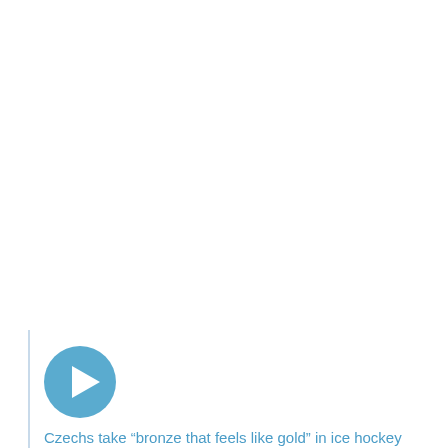[Figure (other): Audio player with circular blue play button]
Czechs take “bronze that feels like gold” in ice hockey
Length of audio 3:15